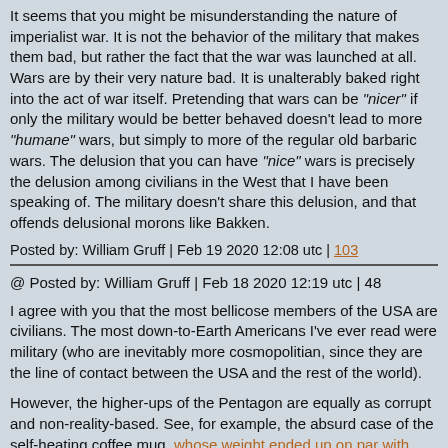It seems that you might be misunderstanding the nature of imperialist war. It is not the behavior of the military that makes them bad, but rather the fact that the war was launched at all. Wars are by their very nature bad. It is unalterably baked right into the act of war itself. Pretending that wars can be "nicer" if only the military would be better behaved doesn't lead to more "humane" wars, but simply to more of the regular old barbaric wars. The delusion that you can have "nice" wars is precisely the delusion among civilians in the West that I have been speaking of. The military doesn't share this delusion, and that offends delusional morons like Bakken.
Posted by: William Gruff | Feb 19 2020 12:08 utc | 103
@ Posted by: William Gruff | Feb 18 2020 12:19 utc | 48
I agree with you that the most bellicose members of the USA are civilians. The most down-to-Earth Americans I've ever read were military (who are inevitably more cosmopolitian, since they are the line of contact between the USA and the rest of the world).
However, the higher-ups of the Pentagon are equally as corrupt and non-reality-based. See, for example, the absurd case of the self-heating coffee mug, whose weight ended up on par with gold's.